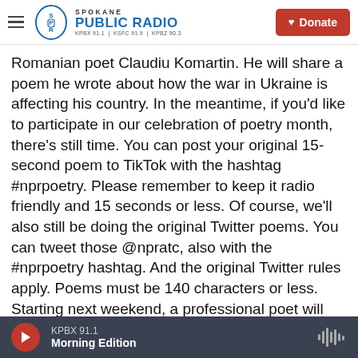Spokane Public Radio — KPBX 91.1 | KSFC 91.9 | KPBZ 90.3 | Donate
Romanian poet Claudiu Komartin. He will share a poem he wrote about how the war in Ukraine is affecting his country. In the meantime, if you'd like to participate in our celebration of poetry month, there's still time. You can post your original 15-second poem to TikTok with the hashtag #nprpoetry. Please remember to keep it radio friendly and 15 seconds or less. Of course, we'll also still be doing the original Twitter poems. You can tweet those @npratc, also with the #nprpoetry hashtag. And the original Twitter rules apply. Poems must be 140 characters or less. Starting next weekend, a professional poet will join us each
KPBX 91.1 | Morning Edition